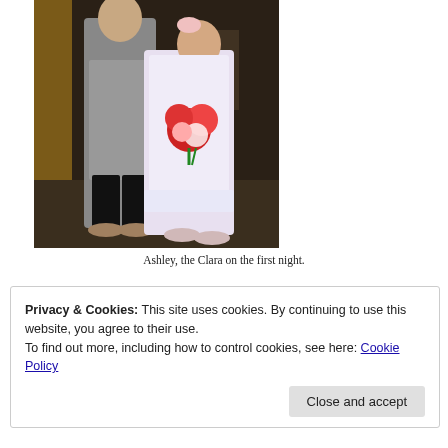[Figure (photo): Two people posing on a stage. One person in a grey/silver costume and black pants, the other (a young girl) in a white ballet dress/nightgown holding a bouquet of red and white flowers. Stage lighting and set pieces visible in background.]
Ashley, the Clara on the first night.
Privacy & Cookies: This site uses cookies. By continuing to use this website, you agree to their use.
To find out more, including how to control cookies, see here: Cookie Policy
Close and accept